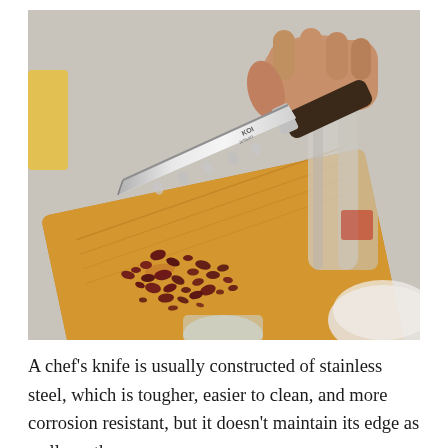[Figure (photo): A hand holding a Koi-branded santoku knife with granton edge over a wooden cutting board scattered with chopped dark red cranberries or dried fruit. Kitchen background with blurred bottles and a white bowl visible.]
A chef's knife is usually constructed of stainless steel, which is tougher, easier to clean, and more corrosion resistant, but it doesn't maintain its edge as well as other